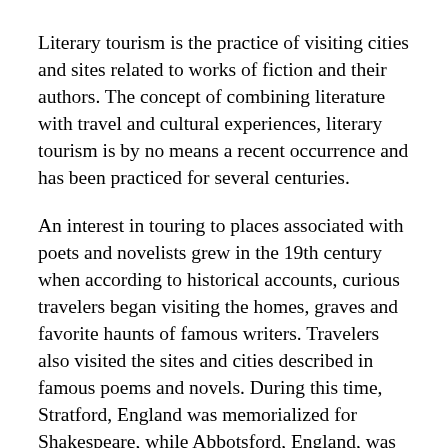Literary tourism is the practice of visiting cities and sites related to works of fiction and their authors. The concept of combining literature with travel and cultural experiences, literary tourism is by no means a recent occurrence and has been practiced for several centuries.
An interest in touring to places associated with poets and novelists grew in the 19th century when according to historical accounts, curious travelers began visiting the homes, graves and favorite haunts of famous writers. Travelers also visited the sites and cities described in famous poems and novels. During this time, Stratford, England was memorialized for Shakespeare, while Abbotsford, England, was venerated for Sir Walter Scott. The memory of Bronte sisters is alive in their home at Haworth, England.